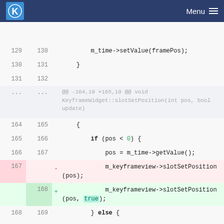KDE Menu
[Figure (screenshot): Code diff view showing changes to KeyframeWidget::slotSetPosition function. Lines 129-172 shown with deleted lines (red background, line 167 and 170) removing m_keyframeview->slotSetPosition(pos) and added lines (green background, line 168 and 171) adding m_keyframeview->slotSetPosition(pos, true). Hunk header @@ -164,10 +165,10 @@ void KeyframeWidget::slotSetPosition(int pos, bool update) shown.]